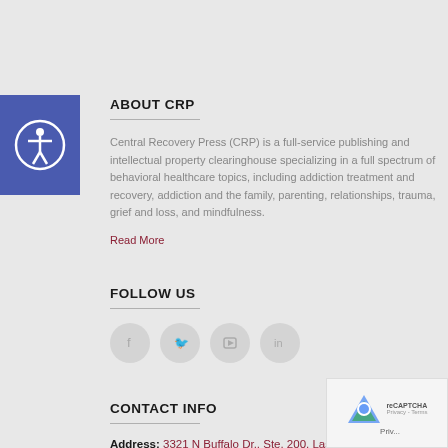[Figure (logo): Accessibility icon — white person with circle on blue/purple square background]
ABOUT CRP
Central Recovery Press (CRP) is a full-service publishing and intellectual property clearinghouse specializing in a full spectrum of behavioral healthcare topics, including addiction treatment and recovery, addiction and the family, parenting, relationships, trauma, grief and loss, and mindfulness.
Read More
FOLLOW US
[Figure (infographic): Four circular social media icons: Facebook (f), Twitter (bird), YouTube (film), LinkedIn (in)]
CONTACT INFO
Address: 3321 N Buffalo Dr., Ste. 200, Las Vegas, NV 89129
[Figure (other): reCAPTCHA widget overlay in bottom right corner]